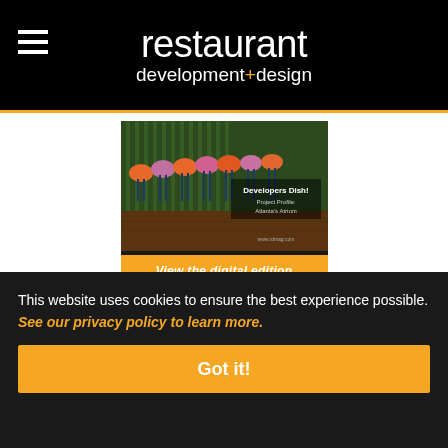restaurant development+design
[Figure (screenshot): Magazine cover showing colorful bar stools/chairs in a restaurant, with text 'Developers Dish!' and 'Project Profile: Atlanta's Atrium', overlaid with an orange 'View the digital edition' button]
A magazine for restaurant designers, developers and others charged with building and remodeling
This website uses cookies to ensure the best experience possible. See our privacy policy to learn more.
Got it!